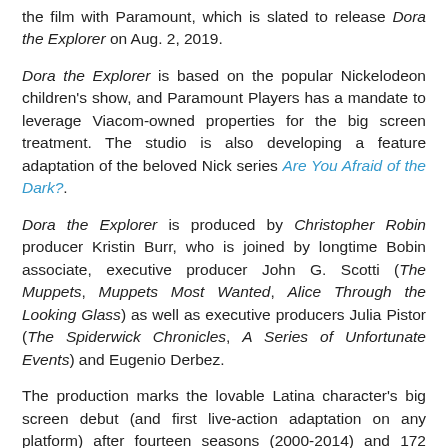the film with Paramount, which is slated to release Dora the Explorer on Aug. 2, 2019.
Dora the Explorer is based on the popular Nickelodeon children's show, and Paramount Players has a mandate to leverage Viacom-owned properties for the big screen treatment. The studio is also developing a feature adaptation of the beloved Nick series Are You Afraid of the Dark?.
Dora the Explorer is produced by Christopher Robin producer Kristin Burr, who is joined by longtime Bobin associate, executive producer John G. Scotti (The Muppets, Muppets Most Wanted, Alice Through the Looking Glass) as well as executive producers Julia Pistor (The Spiderwick Chronicles, A Series of Unfortunate Events) and Eugenio Derbez.
The production marks the lovable Latina character's big screen debut (and first live-action adaptation on any platform) after fourteen seasons (2000-2014) and 172 episodes on Nickelodeon.